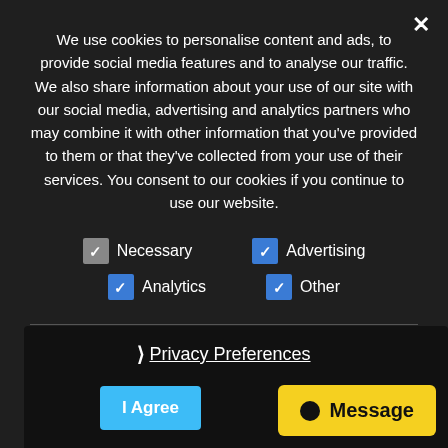We use cookies to personalise content and ads, to provide social media features and to analyse our traffic. We also share information about your use of our site with our social media, advertising and analytics partners who may combine it with other information that you've provided to them or that they've collected from your use of their services. You consent to our cookies if you continue to use our website.
Necessary   Advertising   Analytics   Other
❯ Privacy Preferences
I Agree
● Message